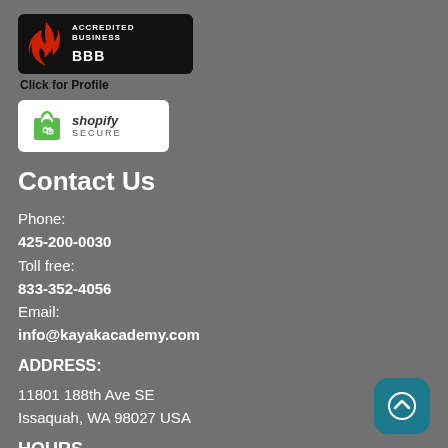[Figure (logo): BBB Accredited Business badge with flame logo and 'Click for Profile' text below]
[Figure (logo): Shopify Secure badge with green shopping bag icon]
Contact Us
Phone:
425-200-0030
Toll free:
833-352-4056
Email:
info@kayakacademy.com
ADDRESS:
11801 188th Ave SE
Issaquah, WA 98027 USA
HOURS
Tuesday - Friday: